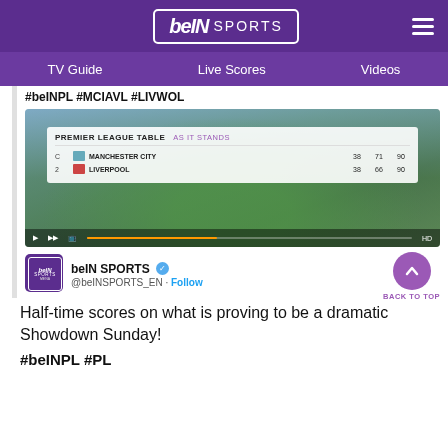beIN SPORTS
TV Guide   Live Scores   Videos
#beINPL #MCIAVL #LIVWOL
[Figure (screenshot): Screenshot of a football stadium with a Premier League Table overlay showing: MANCHESTER CITY 38 71 90, LIVERPOOL 38 66 90. Title: PREMIER LEAGUE TABLE | AS IT STANDS]
beIN SPORTS @beINSPORTS_EN · Follow
Half-time scores on what is proving to be a dramatic Showdown Sunday!
#beINPL #PL